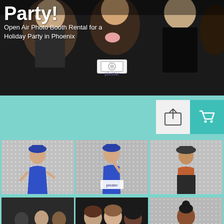[Figure (photo): Hero banner image showing people making funny faces at a photo booth, with Pixster logo overlay. Text overlay reads 'Party!' and subtitle.]
Party!
Open Air Photo Booth Rental for a Holiday Party in Phoenix
[Figure (infographic): Share button (upload/export icon) in light grey box]
[Figure (infographic): Shopping cart icon in teal box]
[Figure (photo): Woman in blue dress with blue hat posing at sparkly backdrop]
[Figure (photo): Same woman in blue dress saluting at sparkly backdrop, with Pixster logo]
[Figure (photo): Older woman in brown top standing at sparkly backdrop]
[Figure (photo): Group of four people at photo booth including woman with flower headpiece and yellow top]
[Figure (photo): Three women posing together at photo booth]
[Figure (photo): Woman in yellow sweater posing at sparkly backdrop]